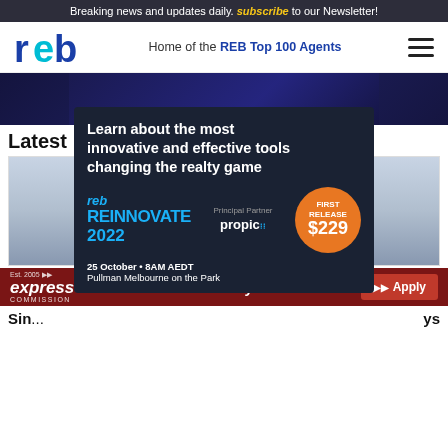Breaking news and updates daily. subscribe to our Newsletter!
[Figure (logo): REB logo and navigation bar with tagline 'Home of the REB Top 100 Agents' and hamburger menu]
[Figure (photo): Dark blue banner/hero image area]
Lates...
[Figure (infographic): REB Reinnovate 2022 advertisement: 'Learn about the most innovative and effective tools changing the realty game'. reb REINNOVATE 2022. Principal Partner: propic. FIRST RELEASE $229. 25 October • 8AM AEDT. Pullman Melbourne on the Park.]
[Figure (photo): Photo of a smiling person, partially visible]
[Figure (infographic): Express Commission banner: Est. 2005, express COMMISSION. Sold Today? Apply button.]
Sin... ys